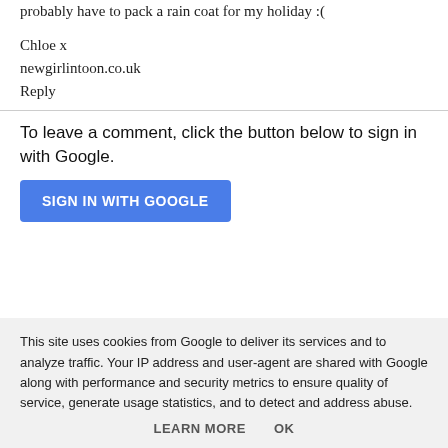probably have to pack a rain coat for my holiday :(
Chloe x
newgirlintoon.co.uk
Reply
To leave a comment, click the button below to sign in with Google.
[Figure (other): Blue 'SIGN IN WITH GOOGLE' button]
This site uses cookies from Google to deliver its services and to analyze traffic. Your IP address and user-agent are shared with Google along with performance and security metrics to ensure quality of service, generate usage statistics, and to detect and address abuse.
LEARN MORE   OK